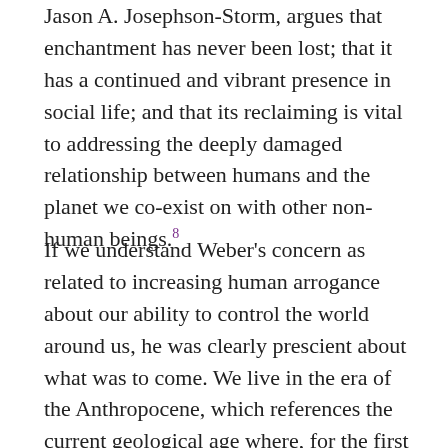Jason A. Josephson-Storm, argues that enchantment has never been lost; that it has a continued and vibrant presence in social life; and that its reclaiming is vital to addressing the deeply damaged relationship between humans and the planet we co-exist on with other non-human beings.8
If we understand Weber's concern as related to increasing human arrogance about our ability to control the world around us, he was clearly prescient about what was to come. We live in the era of the Anthropocene, which references the current geological age where, for the first time in history, human activity is the dominant influence on climate and the environment. We are also living in the sixth mass extinction (Pievani 2014; Barnosky et al. 2011;